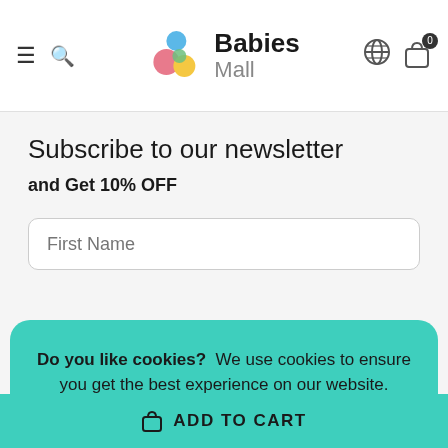Babies Mall
Subscribe to our newsletter
and Get 10% OFF
First Name
Do you like cookies?  We use cookies to ensure you get the best experience on our website.
ACCEPT COOKIES
Copyright © 2022 babies-mall.shop
ADD TO CART